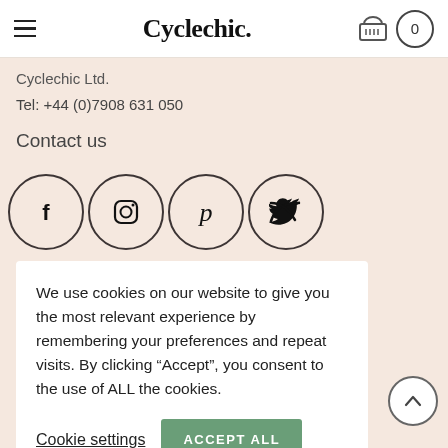Cyclechic.
Cyclechic Ltd.
Tel: +44 (0)7908 631 050
Contact us
[Figure (illustration): Row of four social media icon circles: Facebook, Instagram, Pinterest, Twitter]
We use cookies on our website to give you the most relevant experience by remembering your preferences and repeat visits. By clicking “Accept”, you consent to the use of ALL the cookies.
Cookie settings    ACCEPT ALL
Exchange & returns information